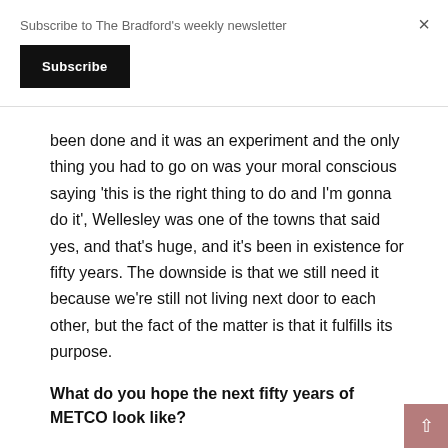Subscribe to The Bradford's weekly newsletter
Subscribe
×
been done and it was an experiment and the only thing you had to go on was your moral conscious saying 'this is the right thing to do and I'm gonna do it', Wellesley was one of the towns that said yes, and that's huge, and it's been in existence for fifty years. The downside is that we still need it because we're still not living next door to each other, but the fact of the matter is that it fulfills its purpose.
What do you hope the next fifty years of METCO look like?